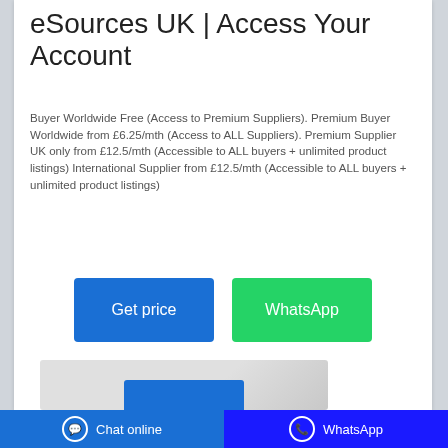eSources UK | Access Your Account
Buyer Worldwide Free (Access to Premium Suppliers). Premium Buyer Worldwide from £6.25/mth (Access to ALL Suppliers). Premium Supplier UK only from £12.5/mth (Accessible to ALL buyers + unlimited product listings) International Supplier from £12.5/mth (Accessible to ALL buyers + unlimited product listings)
[Figure (screenshot): Two buttons: blue 'Get price' button and green 'WhatsApp' button]
[Figure (screenshot): Partial preview of a product or page image at bottom of card]
Chat online   WhatsApp